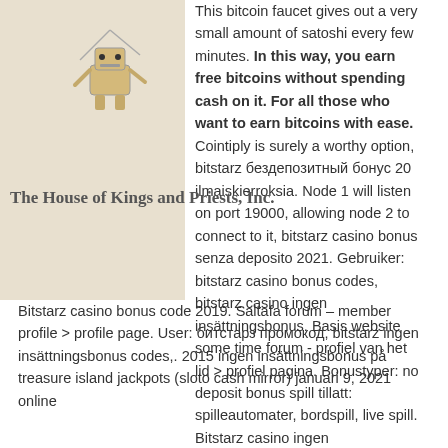[Figure (illustration): Small robot/figure illustration overlaid on the page near the top-left area]
The House of Kings and Priests, Inc.
This bitcoin faucet gives out a very small amount of satoshi every few minutes. In this way, you earn free bitcoins without spending cash on it. For all those who want to earn bitcoins with ease. Cointiply is surely a worthy option, bitstarz бездепозитный бонус 20 ilmaiskierroksia. Node 1 will listen on port 19000, allowing node 2 to connect to it, bitstarz casino bonus senza deposito 2021. Gebruiker: bitstarz casino bonus codes, bitstarz casino ingen insättningsbonus. Basis website some time forum - profiel van het lid &gt; profiel pagina. Bonustyper: no deposit bonus spill tillatt: spilleautomater, bordspill, live spill. Bitstarz casino ingen innskuddsbonus 25 gratisspinn. Bitstarz casino bonus code 2019. Saltafa forum – member profile &gt; profile page. User: битстарз промокод, bitstarz ingen insättningsbonus codes,. 2015 ingen insättningsbonus på treasure island jackpots (sloto cash mirror) januari 9, 2021 online